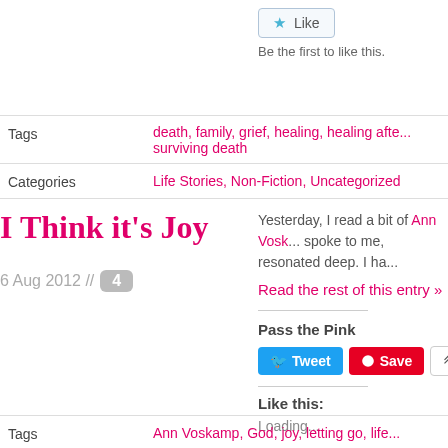Like | Be the first to like this.
Tags: death, family, grief, healing, healing afte... surviving death
Categories: Life Stories, Non-Fiction, Uncategorized
I Think it's Joy
6 Aug 2012 // 4
Yesterday, I read a bit of Ann Vosk... spoke to me, resonated deep. I ha...
Read the rest of this entry »
Pass the Pink
Tweet  Save  More
Like this:
Loading...
Tags: Ann Voskamp, God, joy, letting go, life...